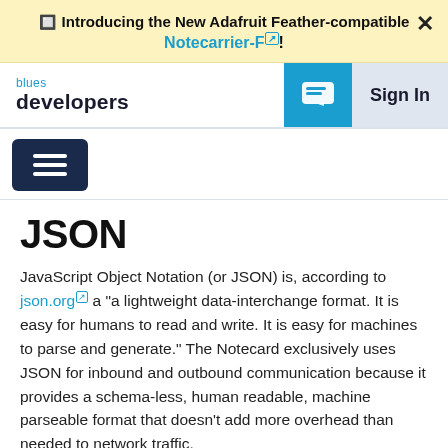🔲 Introducing the New Adafruit Feather-compatible Notecarrier-F! ×
blues developers | Sign In
[Figure (screenshot): Navigation bar with blues developers brand, chat icon button, and Sign In button]
JSON
JavaScript Object Notation (or JSON) is, according to json.org a "a lightweight data-interchange format. It is easy for humans to read and write. It is easy for machines to parse and generate." The Notecard exclusively uses JSON for inbound and outbound communication because it provides a schema-less, human readable, machine parseable format that doesn't add more overhead than needed to network traffic.